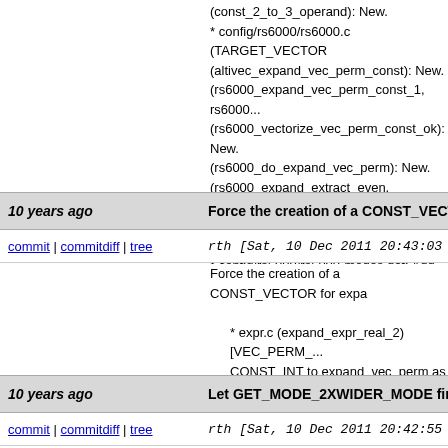(const_2_to_3_operand): New.
* config/rs6000/rs6000.c (TARGET_VECTOR) (altivec_expand_vec_perm_const): New.
(rs6000_expand_vec_perm_const_1, rs6000...
(rs6000_vectorize_vec_perm_const_ok): New.
(rs6000_do_expand_vec_perm): New.
(rs6000_expand_extract_even, rs6000_expa...
* config/rs6000/rs6000-builtin.def (VEC_MER...
* config/rs6000/rs6000-modes.def: Add doubl...
* config/rs6000/rs6000-protos.h: Update.
git-svn-id: svn+ssh://gcc.gnu.org/svn/gcc/trunk@1
10 years ago
Force the creation of a CONST_VECTOR for ex
commit | commitdiff | tree
rth [Sat, 10 Dec 2011 20:43:03 +0000 (20...
Force the creation of a CONST_VECTOR for expa
* expr.c (expand_expr_real_2) [VEC_PERM_...] CONST_INT to expand_vec_perm as the sel...
* optabs.c (expand_vec_perm): Assert the se
git-svn-id: svn+ssh://gcc.gnu.org/svn/gcc/trunk@1
10 years ago
Let GET_MODE_2XWIDER_MODE find a double
commit | commitdiff | tree
rth [Sat, 10 Dec 2011 20:42:55 +0000 (20...